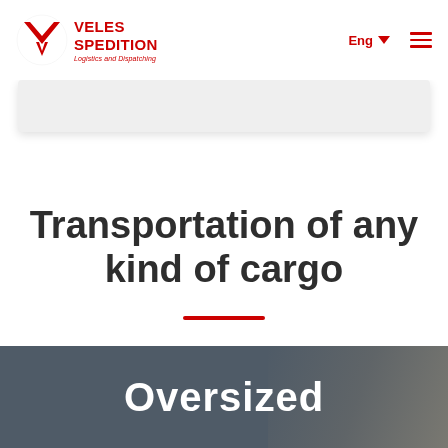VELES SPEDITION — Logistics and Dispatching | Eng | Menu
[Figure (logo): Veles Spedition logo: red V-shaped emblem with 'VELES SPEDITION' in red bold text and 'Logistics and Dispatching' tagline in red italic]
Transportation of any kind of cargo
Oversized